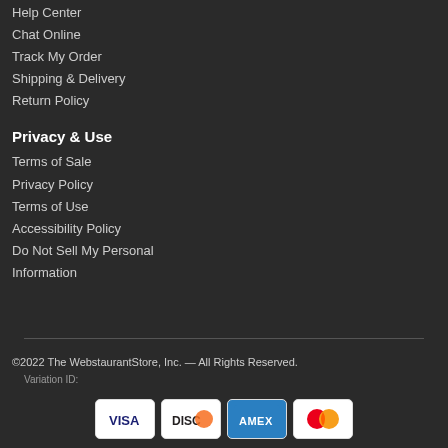Help Center
Chat Online
Track My Order
Shipping & Delivery
Return Policy
Privacy & Use
Terms of Sale
Privacy Policy
Terms of Use
Accessibility Policy
Do Not Sell My Personal Information
©2022 The WebstaurantStore, Inc. — All Rights Reserved.
Variation ID:
[Figure (logo): Payment method icons: VISA, DISC, AMEX, Mastercard]